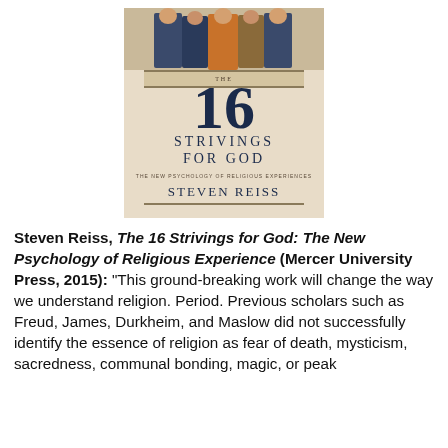[Figure (photo): Book cover of 'The 16 Strivings for God: The New Psychology of Religious Experience' by Steven Reiss, published by Mercer University Press. Cover features an illustration of robed figures at the top, a large '16' in the center, and the subtitle and author name below.]
Steven Reiss, The 16 Strivings for God: The New Psychology of Religious Experience (Mercer University Press, 2015): “This ground-breaking work will change the way we understand religion. Period. Previous scholars such as Freud, James, Durkheim, and Maslow did not successfully identify the essence of religion as fear of death, mysticism, sacredness, communal bonding, magic, or peak